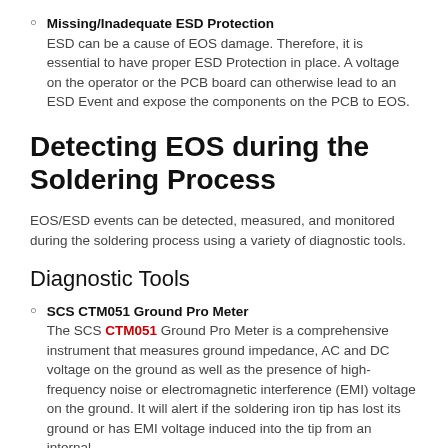Missing/Inadequate ESD Protection
ESD can be a cause of EOS damage. Therefore, it is essential to have proper ESD Protection in place. A voltage on the operator or the PCB board can otherwise lead to an ESD Event and expose the components on the PCB to EOS.
Detecting EOS during the Soldering Process
EOS/ESD events can be detected, measured, and monitored during the soldering process using a variety of diagnostic tools.
Diagnostic Tools
SCS CTM051 Ground Pro Meter
The SCS CTM051 Ground Pro Meter is a comprehensive instrument that measures ground impedance, AC and DC voltage on the ground as well as the presence of high-frequency noise or electromagnetic interference (EMI) voltage on the ground. It will alert if the soldering iron tip has lost its ground or has EMI voltage induced into the tip from an internal